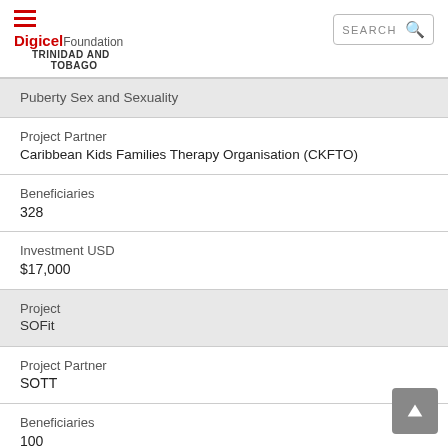Digicel Foundation TRINIDAD AND TOBAGO
| Puberty Sex and Sexuality |
| Project Partner
Caribbean Kids Families Therapy Organisation (CKFTO) |
| Beneficiaries
328 |
| Investment USD
$17,000 |
| Project
SOFit |
| Project Partner
SOTT |
| Beneficiaries
100 |
| Investment USD |